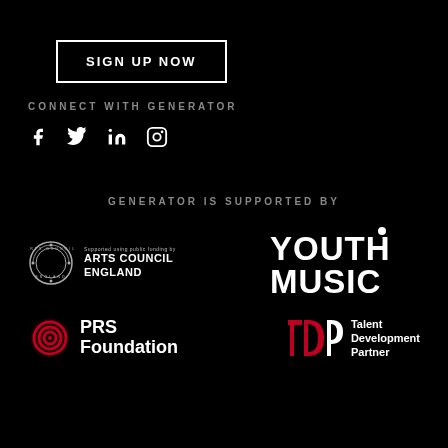SIGN UP NOW
CONNECT WITH GENERATOR
[Figure (infographic): Social media icons: Facebook, Twitter, LinkedIn, Instagram]
GENERATOR IS SUPPORTED BY
[Figure (logo): Arts Council England logo with circular emblem and text 'Supported using public funding by ARTS COUNCIL ENGLAND']
[Figure (logo): Youth Music logo in large bold white text]
[Figure (logo): PRS Foundation logo with red spiral emblem]
[Figure (logo): Talent Development Partner (tdp) logo]